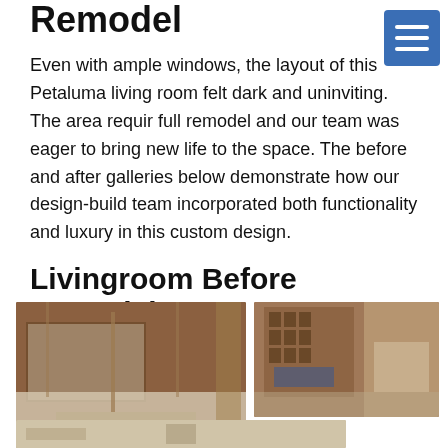Remodel
Even with ample windows, the layout of this Petaluma living room felt dark and uninviting. The area requir full remodel and our team was eager to bring new life to the space. The before and after galleries below demonstrate how our design-build team incorporated both functionality and luxury in this custom design.
Livingroom Before Remodel
[Figure (photo): Before remodel photo of living room showing exposed framing and construction materials, brown walls, plastic sheeting on floor]
[Figure (photo): Before remodel photo of living room showing built-in shelving framing and exposed wall structure]
[Figure (photo): Partial photo of room bottom showing ceiling and construction state]